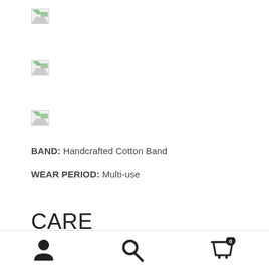[Figure (other): Broken image placeholder 1]
[Figure (other): Broken image placeholder 2]
[Figure (other): Broken image placeholder 3]
BAND: Handcrafted Cotton Band
WEAR PERIOD: Multi-use
CARE
Silk lashes should be given the same care and attention as you would a fine silk blouse. Please do not shower or sleep
User icon | Search icon | Cart icon (0)